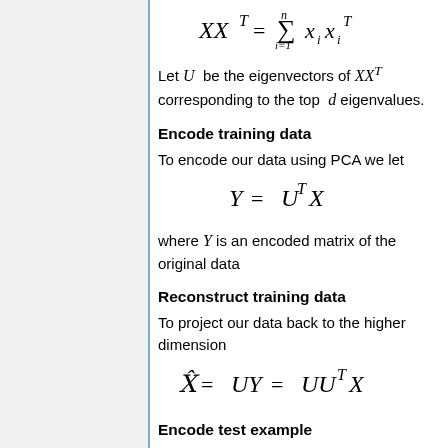Let U be the eigenvectors of XX^T corresponding to the top d eigenvalues.
Encode training data
To encode our data using PCA we let
where Y is an encoded matrix of the original data
Reconstruct training data
To project our data back to the higher dimension
Encode test example
where y is an encoding of x